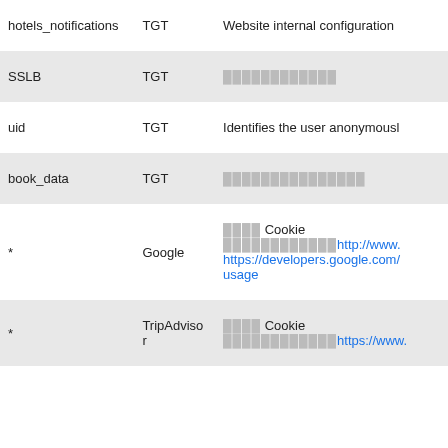| Cookie name | Provider | Description |
| --- | --- | --- |
| hotels_notifications | TGT | Website internal configuration |
| SSLB | TGT | ████████████ |
| uid | TGT | Identifies the user anonymousl… |
| book_data | TGT | ███████████████ |
| * | Google | ████ Cookie ████████████http://www… https://developers.google.com/… usage |
| * | TripAdvisor | ████ Cookie ████████████https://www… |